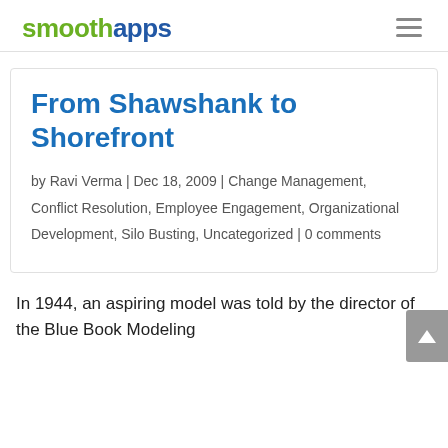smoothapps
From Shawshank to Shorefront
by Ravi Verma | Dec 18, 2009 | Change Management, Conflict Resolution, Employee Engagement, Organizational Development, Silo Busting, Uncategorized | 0 comments
In 1944, an aspiring model was told by the director of the Blue Book Modeling